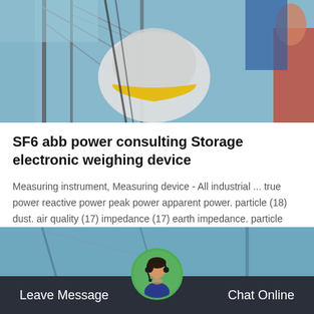[Figure (photo): Industrial/maritime scene showing masts, ropes, and equipment with blue sky background, person visible at right]
SF6 abb power consulting Storage electronic weighing device
Measuring instrument, Measuring device - All industrial ... true power reactive power peak power apparent power. particle (18) dust. air quality (17) impedance (17) earth impedance. particle size (16) power quality (16) capacitance (15) capacitance. heat flow f…
Get Price
[Figure (photo): Industrial/maritime scene at bottom of page, partial view]
Leave Message
[Figure (photo): Circular avatar of a customer service representative with headset]
Chat Online